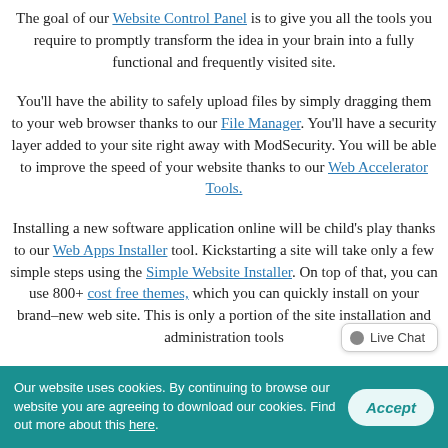The goal of our Website Control Panel is to give you all the tools you require to promptly transform the idea in your brain into a fully functional and frequently visited site.
You'll have the ability to safely upload files by simply dragging them to your web browser thanks to our File Manager. You'll have a security layer added to your site right away with ModSecurity. You will be able to improve the speed of your website thanks to our Web Accelerator Tools.
Installing a new software application online will be child's play thanks to our Web Apps Installer tool. Kickstarting a site will take only a few simple steps using the Simple Website Installer. On top of that, you can use 800+ cost free themes, which you can quickly install on your brand–new web site. This is only a portion of the site installation and administration tools
Our website uses cookies. By continuing to browse our website you are agreeing to download our cookies. Find out more about this here.